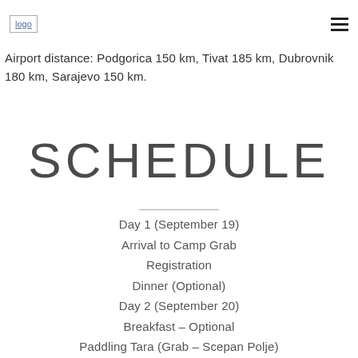logo [hamburger menu]
Airport distance: Podgorica 150 km, Tivat 185 km, Dubrovnik 180 km, Sarajevo 150 km.
SCHEDULE
Day 1 (September 19)
Arrival to Camp Grab
Registration
Dinner (Optional)
Day 2 (September 20)
Breakfast – Optional
Paddling Tara (Grab – Scepan Polje)